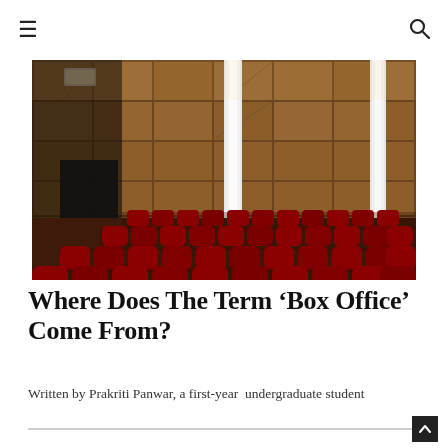≡  🔍
[Figure (photo): Interior of a theater or auditorium showing rows of red velvet seats with wooden paneled walls and white columns in the background.]
Where Does The Term 'Box Office' Come From?
Written by Prakriti Panwar, a first-year undergraduate student